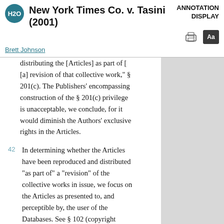New York Times Co. v. Tasini (2001)
Brett Johnson
distributing the [Articles] as part of [a] revision of that collective work," § 201(c). The Publishers' encompassing construction of the § 201(c) privilege is unacceptable, we conclude, for it would diminish the Authors' exclusive rights in the Articles.
42 In determining whether the Articles have been reproduced and distributed "as part of" a "revision" of the collective works in issue, we focus on the Articles as presented to, and perceptible by, the user of the Databases. See § 102 (copyright protection subsists in original works